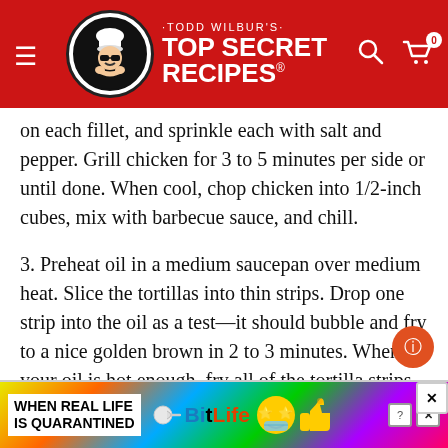Todd Wilbur's Top Secret Recipes
on each fillet, and sprinkle each with salt and pepper. Grill chicken for 3 to 5 minutes per side or until done. When cool, chop chicken into 1/2-inch cubes, mix with barbecue sauce, and chill.
3. Preheat oil in a medium saucepan over medium heat. Slice the tortillas into thin strips. Drop one strip into the oil as a test—it should bubble and fry to a nice golden brown in 2 to 3 minutes. When your oil is hot enough, fry all of the tortilla strips until golden brown, then drain them on paper towels.
4. Assemble each salad by combining 2 cups of iceberg lettuce, 2 cups of romaine lettuce, 1/3 cup jicama, ... pepper jack cheese, ... oil in a
[Figure (other): Advertisement banner: BitLife game ad with rainbow gradient background, text reading WHEN REAL LIFE IS QUARANTINED and BitLife logo with star face emoji]